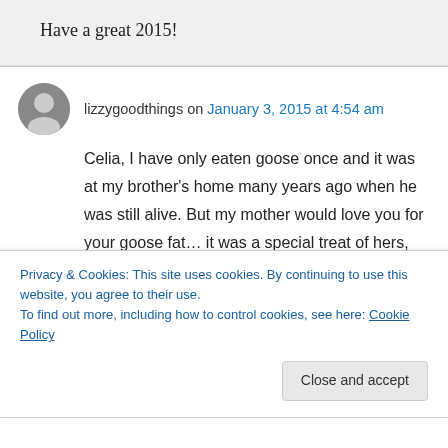Have a great 2015!
lizzygoodthings on January 3, 2015 at 4:54 am
Celia, I have only eaten goose once and it was at my brother's home many years ago when he was still alive. But my mother would love you for your goose fat… it was a special treat of hers, especially Tepertő… ask June about it… it's made made by deep-frying goose or duck skin
Privacy & Cookies: This site uses cookies. By continuing to use this website, you agree to their use.
To find out more, including how to control cookies, see here: Cookie Policy
Close and accept